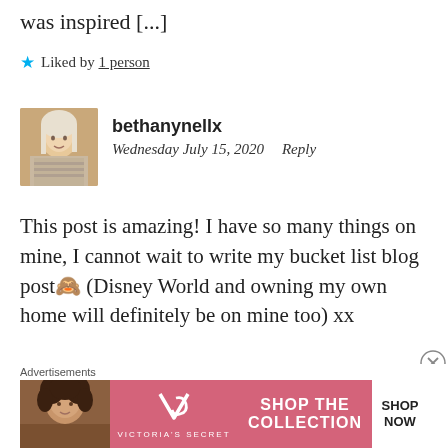was inspired [...]
★ Liked by 1 person
bethanynellx
Wednesday July 15, 2020   Reply
This post is amazing! I have so many things on mine, I cannot wait to write my bucket list blog post🙈 (Disney World and owning my own home will definitely be on mine too) xx
Advertisements
[Figure (other): Victoria's Secret advertisement banner: model photo on left, VS logo in center, SHOP THE COLLECTION text, SHOP NOW button on right]